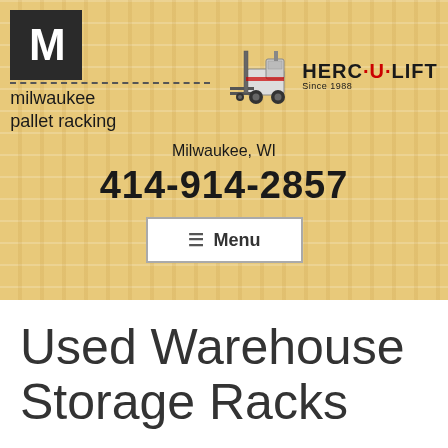[Figure (logo): Milwaukee Pallet Racking logo: black square with white M, dashed underline, text 'milwaukee pallet racking']
[Figure (logo): Herc-U-Lift forklift logo with forklift illustration and 'HERC-U-LIFT Since 1988' text]
Milwaukee, WI
414-914-2857
☰ Menu
Used Warehouse Storage Racks